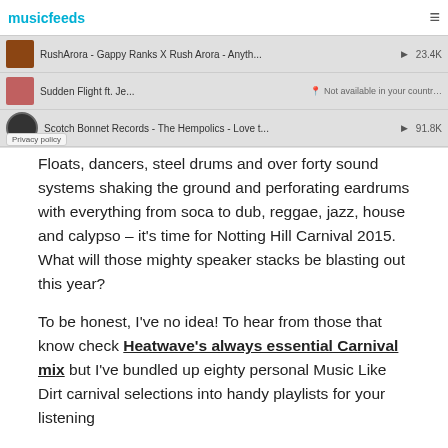[Figure (screenshot): Screenshot of a music streaming interface (musicfeeds.com.au or similar) showing a playlist/track listing with several entries: 'RushArora - Gappy Ranks X Rush Arora - Anyth...' with play count 23.4K; 'Sudden Flight ft. Je... - Not available in your country'; 'Scotch Bonnet Records - The Hempolics - Love t...' with play count 91.8K; 'Akeem Arthur - Stiffy - Squat Wild Riddim 2015...' with play count 69.2K; 'Lukie D. - Lukie D - Thinking Out Loud Cover' with play count 46K. A 'Privacy policy' badge appears at the bottom-left. A page header shows the musicfeeds logo and hamburger menu.]
Floats, dancers, steel drums and over forty sound systems shaking the ground and perforating eardrums with everything from soca to dub, reggae, jazz, house and calypso – it's time for Notting Hill Carnival 2015. What will those mighty speaker stacks be blasting out this year?
To be honest, I've no idea! To hear from those that know check Heatwave's always essential Carnival mix but I've bundled up eighty personal Music Like Dirt carnival selections into handy playlists for your listening